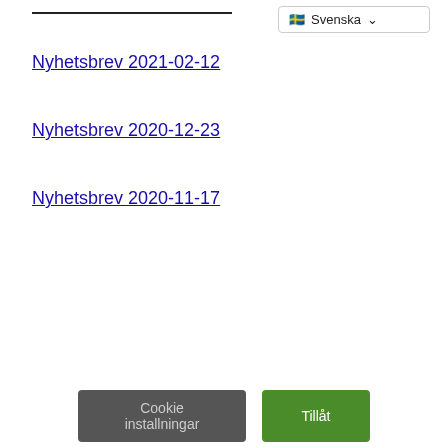Svenska
Nyhetsbrev 2021-02-12
Nyhetsbrev 2020-12-23
Nyhetsbrev 2020-11-17
Vi använder kakor (cookies) för att modifiera innehåll, tillgängliggöra sociala media funktioner och för att analysera webb trafik. Vi delar också informationen med vår analys partner (Google Analytics). Genom att manövrera vidare på sidan anses du ha samtyckt till vår sekretess policy.
Cookie installningar | Tillåt